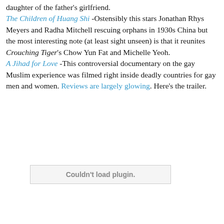daughter of the father's girlfriend. The Children of Huang Shi -Ostensibly this stars Jonathan Rhys Meyers and Radha Mitchell rescuing orphans in 1930s China but the most interesting note (at least sight unseen) is that it reunites Crouching Tiger's Chow Yun Fat and Michelle Yeoh. A Jihad for Love -This controversial documentary on the gay Muslim experience was filmed right inside deadly countries for gay men and women. Reviews are largely glowing. Here's the trailer.
[Figure (other): Embedded plugin area showing 'Couldn't load plugin.' message]